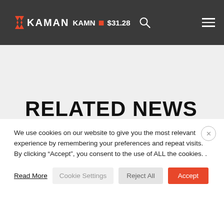KAMAN · $31.28
RELATED NEWS
We use cookies on our website to give you the most relevant experience by remembering your preferences and repeat visits. By clicking "Accept", you consent to the use of ALL the cookies. .
Read More | Cookie Settings | Reject All | Accept